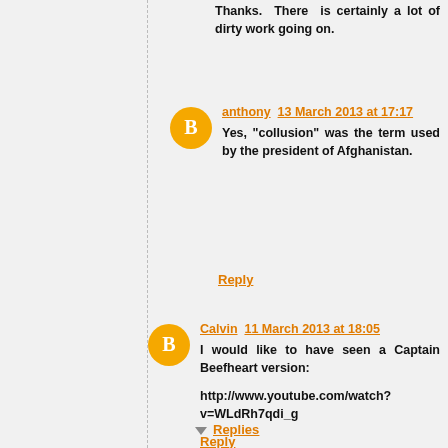Thanks. There is certainly a lot of dirty work going on.
anthony 13 March 2013 at 17:17
Yes, "collusion" was the term used by the president of Afghanistan.
Reply
Calvin 11 March 2013 at 18:05
I would like to have seen a Captain Beefheart version:
http://www.youtube.com/watch?v=WLdRh7qdi_g
Reply
Replies